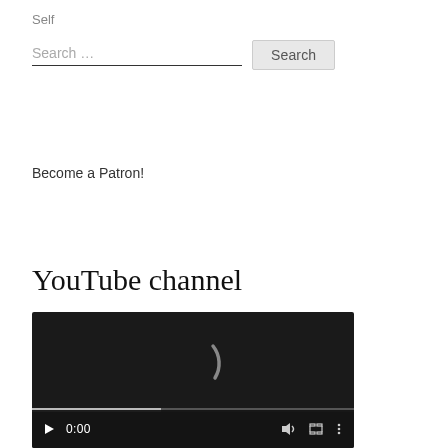Self
Search ...
Become a Patron!
YouTube channel
[Figure (screenshot): Embedded YouTube video player in dark/black theme showing a loading spinner arc, playback controls with play button, time '0:00', volume icon, fullscreen icon, and options icon. A progress bar is visible at the bottom.]